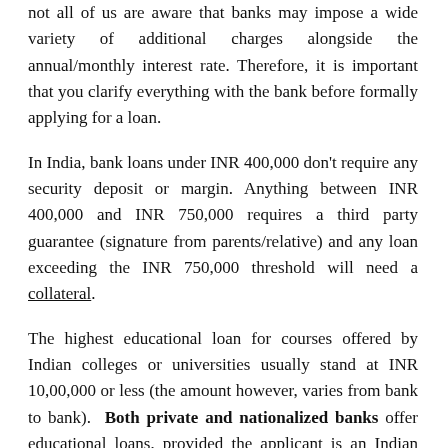not all of us are aware that banks may impose a wide variety of additional charges alongside the annual/monthly interest rate. Therefore, it is important that you clarify everything with the bank before formally applying for a loan.
In India, bank loans under INR 400,000 don't require any security deposit or margin. Anything between INR 400,000 and INR 750,000 requires a third party guarantee (signature from parents/relative) and any loan exceeding the INR 750,000 threshold will need a collateral.
The highest educational loan for courses offered by Indian colleges or universities usually stand at INR 10,00,000 or less (the amount however, varies from bank to bank). Both private and nationalized banks offer educational loans, provided the applicant is an Indian national.
Last but not the least; don't forget to ask the following